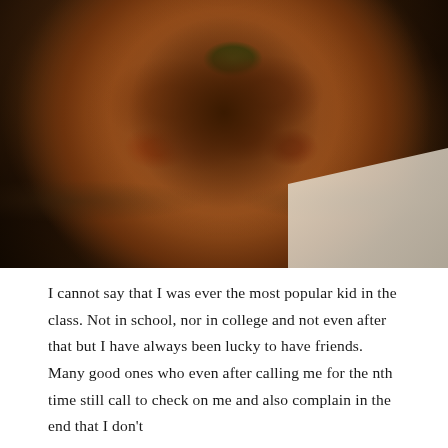[Figure (photo): Overhead shot of a black cast iron pot filled with braised or stewed meat (likely beef) in a rich brown sauce, garnished with fresh cilantro leaves on top, placed on a wooden surface with a white linen napkin underneath. A wooden spoon is partially visible in the upper right corner.]
I cannot say that I was ever the most popular kid in the class. Not in school, nor in college and not even after that but I have always been lucky to have friends. Many good ones who even after calling me for the nth time still call to check on me and also complain in the end that I don't